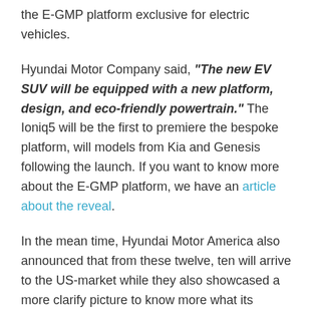the E-GMP platform exclusive for electric vehicles.
Hyundai Motor Company said, "The new EV SUV will be equipped with a new platform, design, and eco-friendly powertrain." The Ioniq5 will be the first to premiere the bespoke platform, will models from Kia and Genesis following the launch. If you want to know more about the E-GMP platform, we have an article about the reveal.
In the mean time, Hyundai Motor America also announced that from these twelve, ten will arrive to the US-market while they also showcased a more clarify picture to know more what its coming. If you're a follower, you maybe already know many of this novelties.